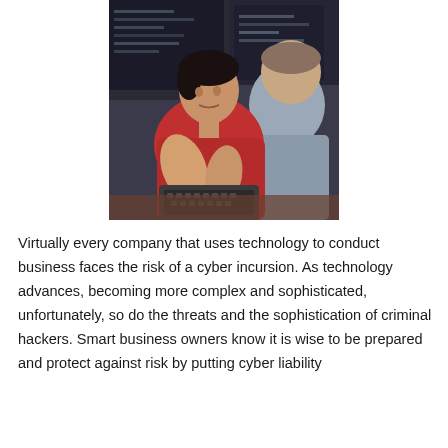[Figure (photo): Two people working at computers in an office setting. A woman with dark hair wearing a red top is focused on a monitor, while another person is visible in the foreground.]
Virtually every company that uses technology to conduct business faces the risk of a cyber incursion. As technology advances, becoming more complex and sophisticated, unfortunately, so do the threats and the sophistication of criminal hackers. Smart business owners know it is wise to be prepared and protect against risk by putting cyber liability